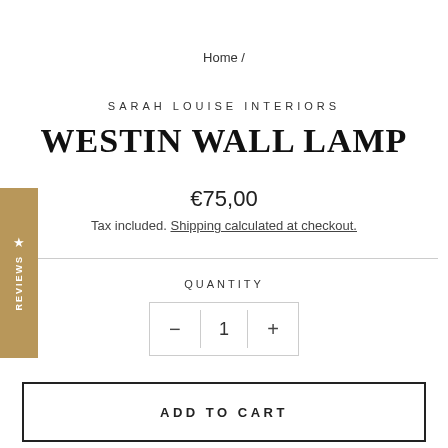Home /
SARAH LOUISE INTERIORS
WESTIN WALL LAMP
€75,00
Tax included. Shipping calculated at checkout.
QUANTITY
— 1 +
ADD TO CART